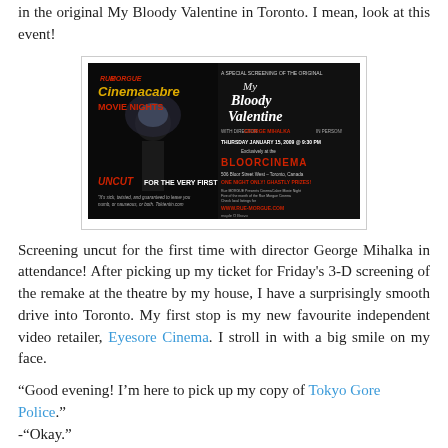in the original My Bloody Valentine in Toronto. I mean, look at this event!
[Figure (photo): Promotional flyer for Rue Morgue Cinemacabre Movie Nights screening of My Bloody Valentine, featuring director George Mihalka in person, Thursday January 15, 2009 at 9:30 PM, exclusively at the Bloor Cinema, 506 Bloor Street West, Toronto, Canada. One night only! Ghastly prizes! Uncut for the very first time!]
Screening uncut for the first time with director George Mihalka in attendance! After picking up my ticket for Friday's 3-D screening of the remake at the theatre by my house, I have a surprisingly smooth drive into Toronto. My first stop is my new favourite independent video retailer, Eyesore Cinema. I stroll in with a big smile on my face.
“Good evening! I’m here to pick up my copy of Tokyo Gore Police.”
-“Okay.”
“Are you still taking pre-orders for REC?”